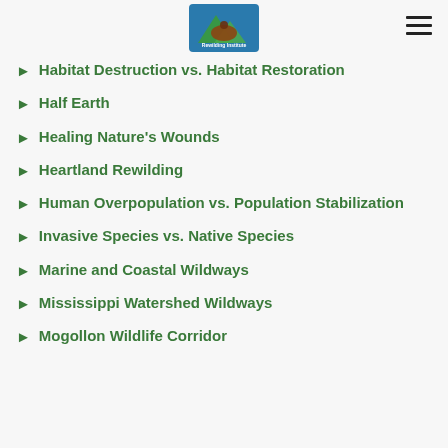Rewilding Institute logo and hamburger menu
Habitat Destruction vs. Habitat Restoration
Half Earth
Healing Nature's Wounds
Heartland Rewilding
Human Overpopulation vs. Population Stabilization
Invasive Species vs. Native Species
Marine and Coastal Wildways
Mississippi Watershed Wildways
Mogollon Wildlife Corridor